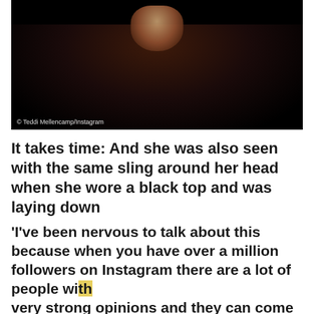[Figure (photo): Dark photo showing a person with a sling/bandage around their head wearing a dark top, lying down. Dark background.]
© Teddi Mellencamp/Instagram
It takes time: And she was also seen with the same sling around her head when she wore a black top and was laying down
'I've been nervous to talk about this because when you have over a million followers on Instagram there are a lot of people with very strong opinions and they can come at you and they can make you feel all different kinds of…